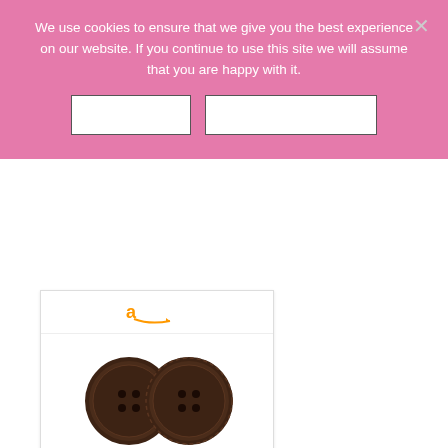We use cookies to ensure that we give you the best experience on our website. If you continue to use this site we will assume that you are happy with it.
[Figure (screenshot): Cookie consent banner with two buttons (Ok and Privacy policy) and a close X, overlaying a product listing page showing an Amazon product card for Amanaote Large Size Wood... buttons priced at $7.99 with a Shop now button]
Amanaote Large Size Wood...
$7.99